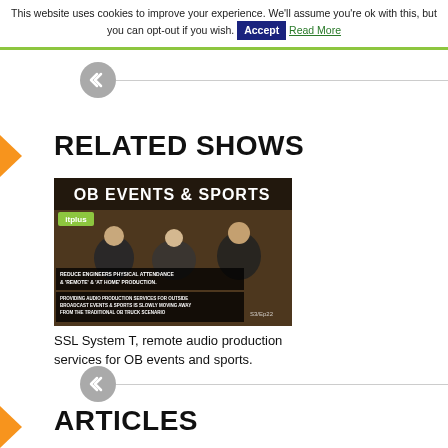This website uses cookies to improve your experience. We'll assume you're ok with this, but you can opt-out if you wish. Accept Read More
RELATED SHOWS
[Figure (screenshot): Video thumbnail showing OB Events & Sports broadcast panel discussion with on-screen text about remote audio production services and reducing engineers' physical attendance]
SSL System T, remote audio production services for OB events and sports.
ARTICLES